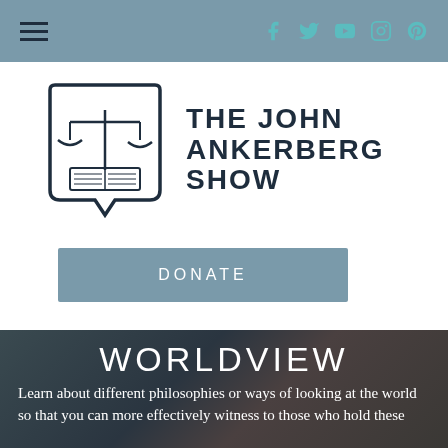Navigation bar with hamburger menu and social icons (Facebook, Twitter, YouTube, Instagram, Pinterest)
[Figure (logo): The John Ankerberg Show logo — scales of justice over an open book inside a speech bubble shape, with the text THE JOHN ANKERBERG SHOW to the right]
DONATE
WORLDVIEW
Learn about different philosophies or ways of looking at the world so that you can more effectively witness to those who hold these